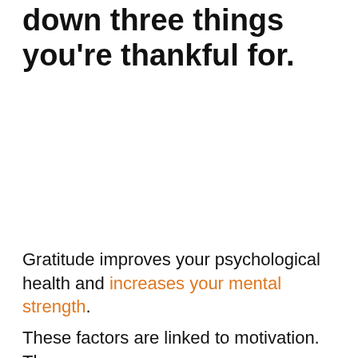down three things you're thankful for.
Gratitude improves your psychological health and increases your mental strength.
These factors are linked to motivation. The